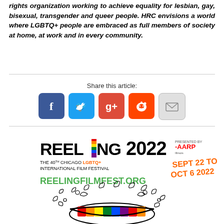rights organization working to achieve equality for lesbian, gay, bisexual, transgender and queer people. HRC envisions a world where LGBTQ+ people are embraced as full members of society at home, at work and in every community.
Share this article:
[Figure (other): Social media sharing icons: Facebook, Twitter, Google+, Reddit, Email]
[Figure (other): Reeling 2022 - The 40th Chicago LGBTQ+ International Film Festival presented by AARP. Sept 22 to Oct 6 2022. reelingfilmfest.org. Decorative illustration of a mouth with rainbow teeth surrounded by abstract doodles.]